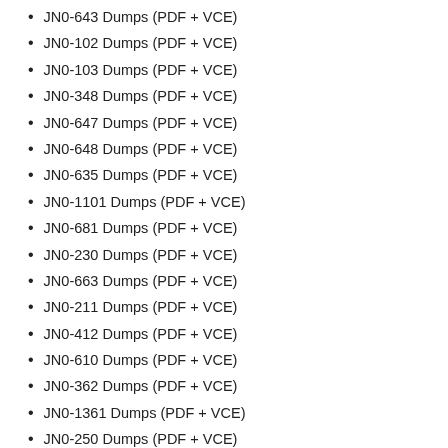JN0-643 Dumps (PDF + VCE)
JN0-102 Dumps (PDF + VCE)
JN0-103 Dumps (PDF + VCE)
JN0-348 Dumps (PDF + VCE)
JN0-647 Dumps (PDF + VCE)
JN0-648 Dumps (PDF + VCE)
JN0-635 Dumps (PDF + VCE)
JN0-1101 Dumps (PDF + VCE)
JN0-681 Dumps (PDF + VCE)
JN0-230 Dumps (PDF + VCE)
JN0-663 Dumps (PDF + VCE)
JN0-211 Dumps (PDF + VCE)
JN0-412 Dumps (PDF + VCE)
JN0-610 Dumps (PDF + VCE)
JN0-362 Dumps (PDF + VCE)
JN0-1361 Dumps (PDF + VCE)
JN0-250 Dumps (PDF + VCE)
More ... Juniper Dumps Collections >>
lead4pass 200-301